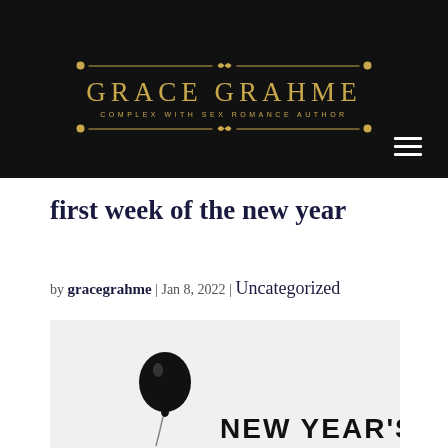GRACE GRAHME — COMPLEX WITH SEX ROMANCE AUTHOR
first week of the new year
by gracegrahme | Jan 8, 2022 | Uncategorized
[Figure (photo): Black balloon with string against a light grey background, with bold text 'NEW YEAR'S' visible at bottom right]